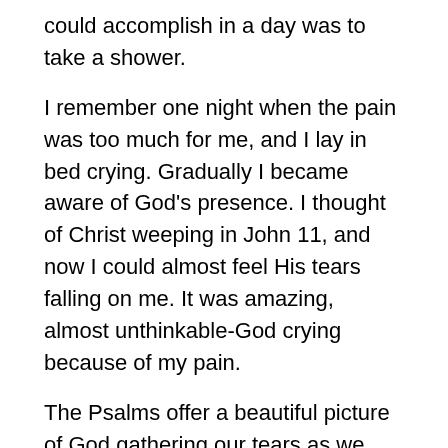could accomplish in a day was to take a shower.
I remember one night when the pain was too much for me, and I lay in bed crying. Gradually I became aware of God’s presence. I thought of Christ weeping in John 11, and now I could almost feel His tears falling on me. It was amazing, almost unthinkable-God crying because of my pain.
The Psalms offer a beautiful picture of God gathering our tears as we suffer, and saving them in a bottle in Heaven (Psalm 56:8). I believe the Master Craftsman tirelessly works to transform those tears into heavenly treasure. Second Corinthians 4:16-17 tells us that our momentary affliction is “producing for us an eternal weight of